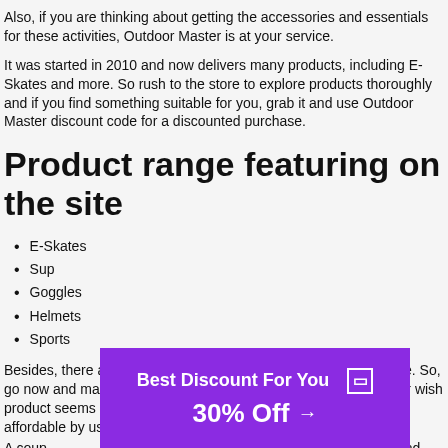Also, if you are thinking about getting the accessories and essentials for these activities, Outdoor Master is at your service.
It was started in 2010 and now delivers many products, including E-Skates and more. So rush to the store to explore products thoroughly and if you find something suitable for you, grab it and use Outdoor Master discount code for a discounted purchase.
Product range featuring on the site
E-Skates
Sup
Goggles
Helmets
Sports
Besides, there are so many other products are pinned at the store. So, go now and make purchases at exciting prices. If the price of your wish product seems high, the limitation of your budget can make it affordable by using
A coup ab and
[Figure (infographic): Purple promotional banner: 'Best Discount For You' with '30% Off →' text and a close button]